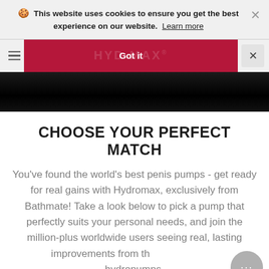🍪 This website uses cookies to ensure you get the best experience on our website. Learn more
[Figure (screenshot): Navigation bar with red 'Got it' cookie consent button overlaid on Hydromax logo, hamburger menu icon on left, X close button on right]
[Figure (photo): Dark/black hero banner image strip]
CHOOSE YOUR PERFECT MATCH
You've found the world's best penis pumps - get ready for real gains with Hydromax, exclusively from Bathmate! Take a look below to pick a pump that perfectly suits your personal needs, and join the million-plus worldwide users seeing real, lasting improvements from the hydropumps.